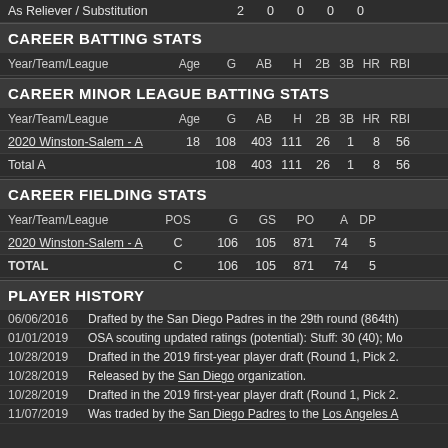| As Reliever / Substitution | 2 | 0 | 0 | 0 | 0 |
| --- | --- | --- | --- | --- | --- |
| As Reliever / Substitution | 2 | 0 | 0 | 0 | 0 |
CAREER BATTING STATS
| Year/Team/League | Age | G | AB | H | 2B | 3B | HR | RBI |
| --- | --- | --- | --- | --- | --- | --- | --- | --- |
CAREER MINOR LEAGUE BATTING STATS
| Year/Team/League | Age | G | AB | H | 2B | 3B | HR | RBI |
| --- | --- | --- | --- | --- | --- | --- | --- | --- |
| 2020 Winston-Salem - A | 18 | 108 | 403 | 111 | 26 | 1 | 8 | 56 |
| Total A |  | 108 | 403 | 111 | 26 | 1 | 8 | 56 |
CAREER FIELDING STATS
| Year/Team/League | POS | G | GS | PO | A | DP |
| --- | --- | --- | --- | --- | --- | --- |
| 2020 Winston-Salem - A | C | 106 | 105 | 871 | 74 | 5 |
| TOTAL | C | 106 | 105 | 871 | 74 | 5 |
PLAYER HISTORY
06/06/2016   Drafted by the San Diego Padres in the 29th round (864th)
01/01/2019   OSA scouting updated ratings (potential): Stuff: 30 (40); Mo
10/28/2019   Drafted in the 2019 first-year player draft (Round 1, Pick 2.
10/28/2019   Released by the San Diego organization.
10/28/2019   Drafted in the 2019 first-year player draft (Round 1, Pick 2.
11/07/2019   Was traded by the San Diego Padres to the Los Angeles A